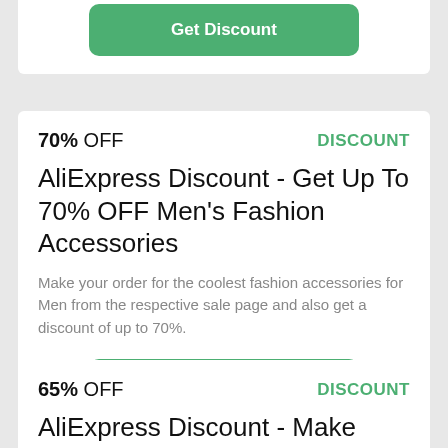Get Discount
70% OFF   DISCOUNT
AliExpress Discount - Get Up To 70% OFF Men's Fashion Accessories
Make your order for the coolest fashion accessories for Men from the respective sale page and also get a discount of up to 70%.
Get Discount
65% OFF   DISCOUNT
AliExpress Discount - Make Purchase Of